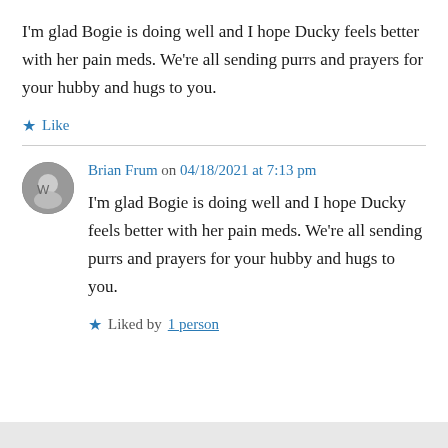I'm glad Bogie is doing well and I hope Ducky feels better with her pain meds. We're all sending purrs and prayers for your hubby and hugs to you.
★ Like
Brian Frum on 04/18/2021 at 7:13 pm
I'm glad Bogie is doing well and I hope Ducky feels better with her pain meds. We're all sending purrs and prayers for your hubby and hugs to you.
★ Liked by 1 person